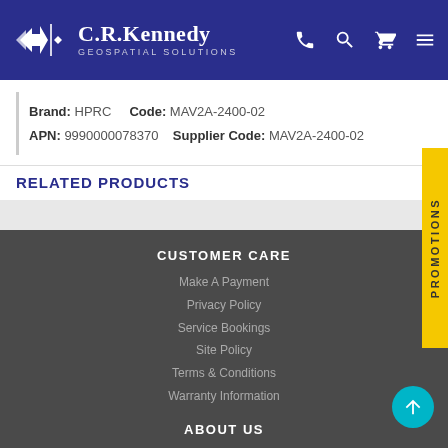C.R.Kennedy Geospatial Solutions
Brand: HPRC   Code: MAV2A-2400-02
APN: 9990000078370   Supplier Code: MAV2A-2400-02
RELATED PRODUCTS
PROMOTIONS
CUSTOMER CARE
Make A Payment
Privacy Policy
Service Bookings
Site Policy
Terms & Conditions
Warranty Information
ABOUT US
About Us